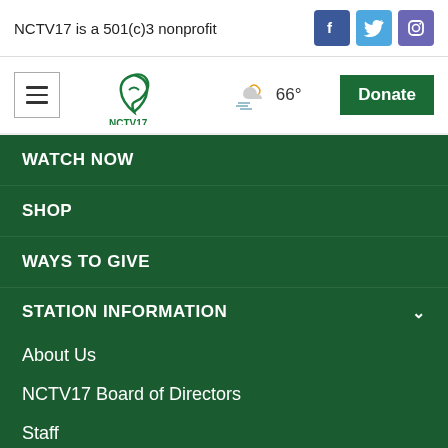NCTV17 is a 501(c)3 nonprofit
[Figure (logo): NCTV17 logo with green stylized leaf/antenna graphic]
66°
Donate
WATCH NOW
SHOP
WAYS TO GIVE
STATION INFORMATION
About Us
NCTV17 Board of Directors
Staff
Location & Hours
Advertising
Sponsorship
Video Production